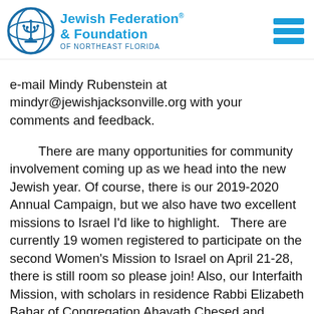Jewish Federation & Foundation of Northeast Florida
e-mail Mindy Rubenstein at mindyr@jewishjacksonville.org with your comments and feedback.

There are many opportunities for community involvement coming up as we head into the new Jewish year. Of course, there is our 2019-2020 Annual Campaign, but we also have two excellent missions to Israel I’d like to highlight.   There are currently 19 women registered to participate on the second Women’s Mission to Israel on April 21-28, there is still room so please join! Also, our Interfaith Mission, with scholars in residence Rabbi Elizabeth Bahar of Congregation Ahavath Chesed and Pastor Kyle Reese Deputy Director of One Jax, promises to highlight what makes Israel unique as the home to various religions.  Please call 904-